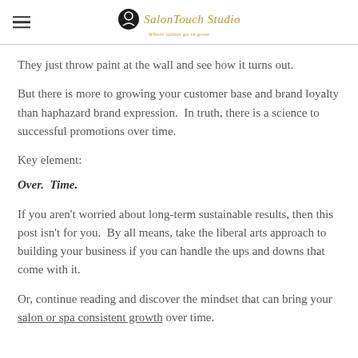SalonTouch Studio — Where salons go to grow
They just throw paint at the wall and see how it turns out.
But there is more to growing your customer base and brand loyalty than haphazard brand expression.  In truth, there is a science to successful promotions over time.
Key element:
Over.  Time.
If you aren't worried about long-term sustainable results, then this post isn't for you.  By all means, take the liberal arts approach to building your business if you can handle the ups and downs that come with it.
Or, continue reading and discover the mindset that can bring your salon or spa consistent growth over time.